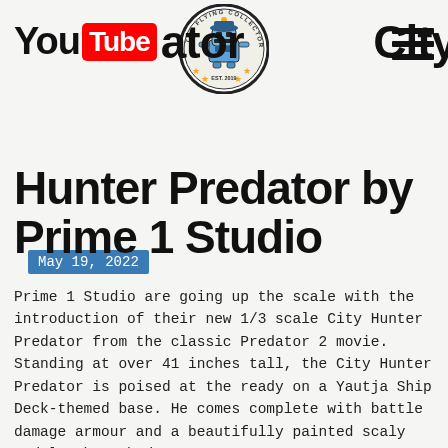YouTube Predator City Hunter Predator by Prime 1 Studio
[Figure (logo): The Flying Collector circular logo with robot character, EST. 2019]
[Figure (logo): YouTube logo with red Tube box]
[Figure (illustration): Hamburger menu icon with three horizontal lines]
May 19, 2022
Prime 1 Studio are going up the scale with the introduction of their new 1/3 scale City Hunter Predator from the classic Predator 2 movie. Standing at over 41 inches tall, the City Hunter Predator is poised at the ready on a Yautja Ship Deck-themed base. He comes complete with battle damage armour and a beautifully painted scaly and leathery body.
As for electronics, no shortage for the state of the